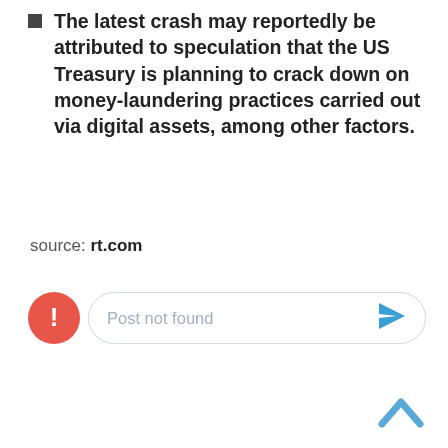The latest crash may reportedly be attributed to speculation that the US Treasury is planning to crack down on money-laundering practices carried out via digital assets, among other factors.
source: rt.com
[Figure (screenshot): A UI element showing a red error circle with exclamation mark on the left and a rounded input box with placeholder text 'Post not found' and a blue send/paper-plane icon on the right.]